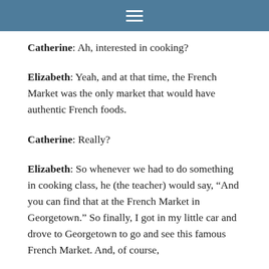≡
Catherine: Ah, interested in cooking?
Elizabeth: Yeah, and at that time, the French Market was the only market that would have authentic French foods.
Catherine: Really?
Elizabeth: So whenever we had to do something in cooking class, he (the teacher) would say, “And you can find that at the French Market in Georgetown.” So finally, I got in my little car and drove to Georgetown to go and see this famous French Market. And, of course,